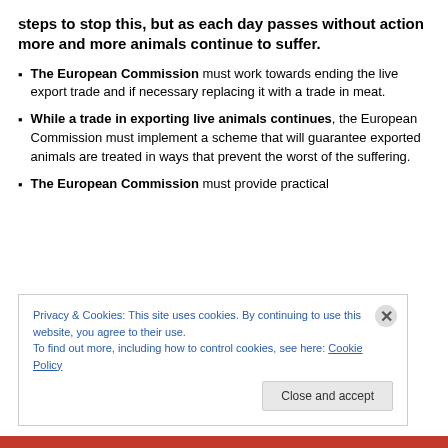steps to stop this, but as each day passes without action more and more animals continue to suffer.
The European Commission must work towards ending the live export trade and if necessary replacing it with a trade in meat.
While a trade in exporting live animals continues, the European Commission must implement a scheme that will guarantee exported animals are treated in ways that prevent the worst of the suffering.
The European Commission must provide practical
Privacy & Cookies: This site uses cookies. By continuing to use this website, you agree to their use.
To find out more, including how to control cookies, see here: Cookie Policy
Close and accept